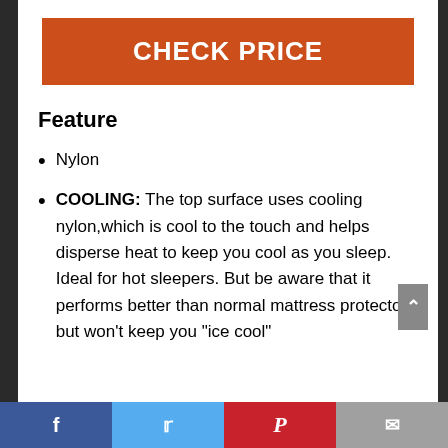CHECK PRICE
Feature
Nylon
COOLING: The top surface uses cooling nylon,which is cool to the touch and helps disperse heat to keep you cool as you sleep. Ideal for hot sleepers. But be aware that it performs better than normal mattress protectors but won’t keep you “ice cool”
Facebook | Twitter | Pinterest | Email